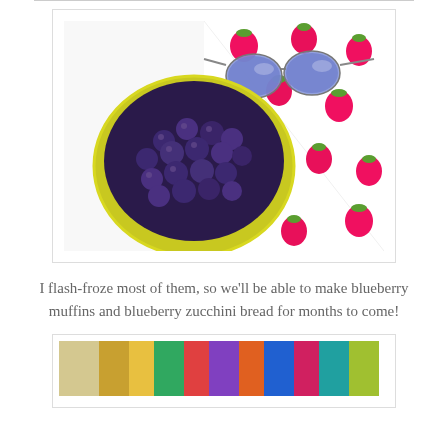[Figure (photo): Overhead photo of a yellow bowl filled with fresh blueberries, placed on a white fabric with pink strawberry print, with blue aviator sunglasses beside the bowl.]
I flash-froze most of them, so we'll be able to make blueberry muffins and blueberry zucchini bread for months to come!
[Figure (photo): Partial view of a colorful photo at the bottom of the page, partially cropped.]